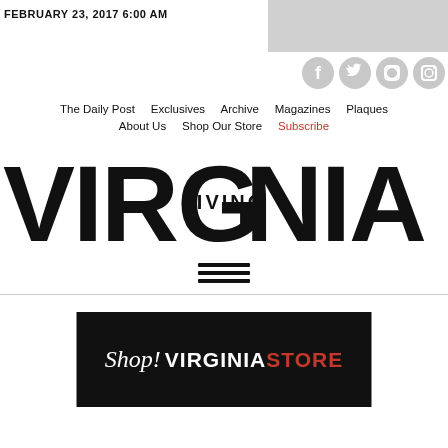FEBRUARY 23, 2017 6:00 AM
[Figure (logo): Social media icons: Facebook, Twitter, Pinterest, Instagram (grey circular icons)]
The Daily Post   Exclusives   Archive   Magazines   Plaques
About Us   Shop Our Store   Subscribe
[Figure (logo): Virginia Living magazine logo — large bold black letters VIRGINIA with LIVING in smaller text inside the G]
[Figure (other): Hamburger menu icon — three horizontal black lines]
[Figure (logo): Shop! VIRGINIA STORE banner — black background, white italic Shop! text and white VIRGINIA text, red STORE text]